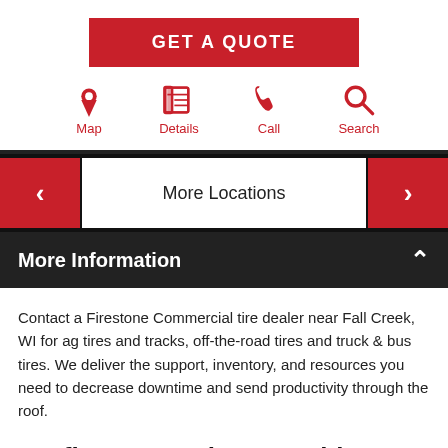GET A QUOTE
Map
Details
Call
Search
More Locations
More Information
Contact a Firestone Commercial tire dealer near Fall Creek, WI for ag tires and tracks, off-the-road tires and truck & bus tires. We deliver the support, inventory, and resources you need to decrease downtime and send productivity through the roof.
Outfit Your Equipment with Firestone Commercial Near Fall Creek, WI